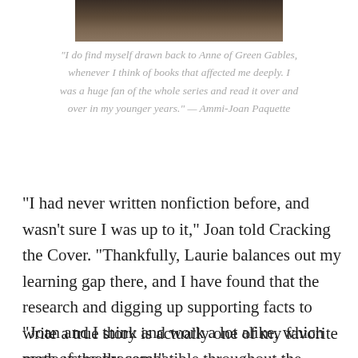[Figure (photo): Cropped bottom portion of a photo showing a person in a dark top, with arms crossed, against a warm bokeh background.]
“I do find myself drawn back to Anne of Green Gables, whenever I think of books that affected me deeply. I was a huge fan of the whole series and read it over and over in my younger years.” — Ammi-Joan Paquette
“I had never written nonfiction before, and wasn’t sure I was up to it,” Joan told Cracking the Cover. “Thankfully, Laurie balances out my learning gap there, and I have found that the research and digging up supporting facts to write a true story is actually one of my favorite parts of the process!”
“Joan and I think and work a lot alike, which made us really compatible throughout the process,” Laurie